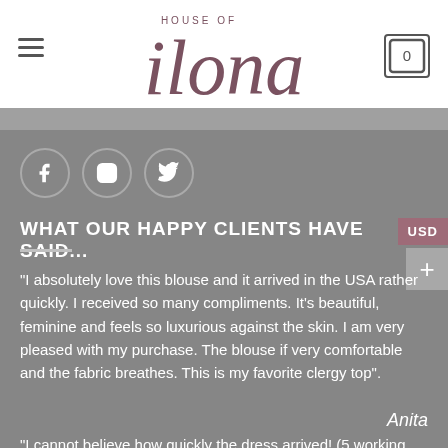[Figure (logo): House of Ilona logo with hamburger menu icon on left and cart icon with '0' on right]
[Figure (infographic): Three social media icons in circles: Facebook, Instagram, Twitter]
WHAT OUR HAPPY CLIENTS HAVE SAID...
"I absolutely love this blouse and it arrived in the USA rather quickly. I received so many compliments. It's beautiful, feminine and feels so luxurious against the skin. I am very pleased with my purchase. The blouse if very comfortable and the fabric breathes. This is my favorite clergy top".
Anita
"I cannot believe how quickly the dress arrived! (5 working day